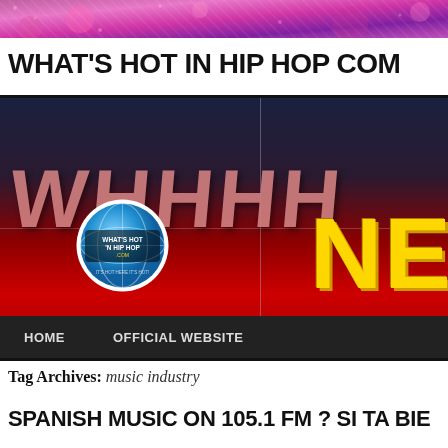[Figure (photo): Colorful pink and purple banner image at the top of a hip hop website]
WHAT'S HOT IN HIP HOP COM
[Figure (screenshot): WHHHH News website banner with dark blue/red gradient background, large pink WHHHH text, yellow NE text, globe badge with 'What's Hot in Hip Hop' logo, navigation bar with HOME and OFFICIAL WEBSITE links]
Tag Archives: music industry
SPANISH MUSIC ON 105.1 FM ? SI TA BIE